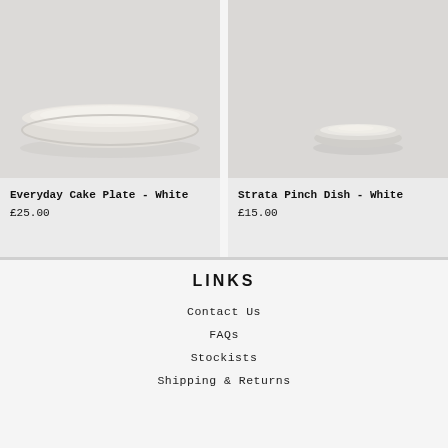[Figure (photo): Photo of a white ceramic cake plate, flat and round with raised rim, on a light grey background]
Everyday Cake Plate - White
£25.00
[Figure (photo): Photo of a small white ceramic pinch dish, shallow and round, on a light grey background]
Strata Pinch Dish - White
£15.00
LINKS
Contact Us
FAQs
Stockists
Shipping & Returns